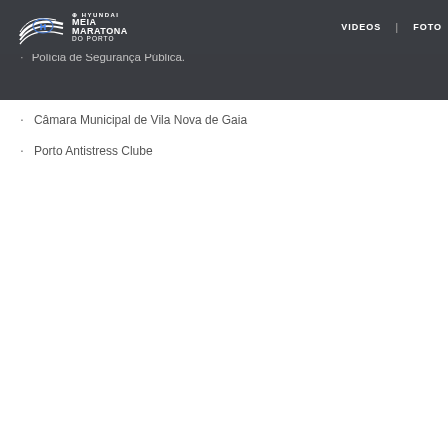[Figure (logo): Hyundai Meia Maratona do Porto logo with white text on dark navbar background, with VIDEOS and FOTO navigation links]
Associação de Atletismo do Porto.
Conselho Nacional de Arbitragem da AAP.
Polícia de Segurança Pública.
Câmara Municipal de Vila Nova de Gaia
Porto Antistress Clube